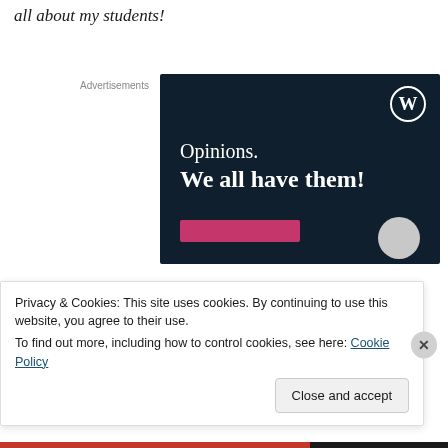all about my students!
Advertisements
[Figure (illustration): WordPress.com advertisement banner with dark navy background showing WordPress logo (W in circle), text 'Opinions. We all have them!', a pink button, and a grey circle.]
Privacy & Cookies: This site uses cookies. By continuing to use this website, you agree to their use.
To find out more, including how to control cookies, see here: Cookie Policy